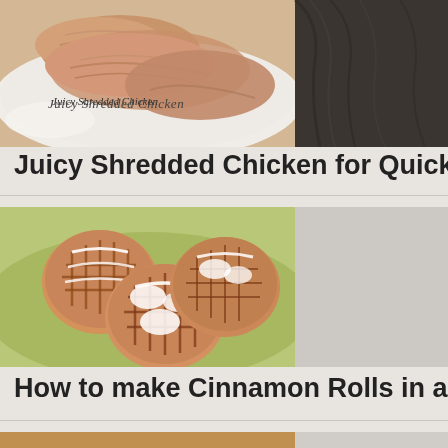[Figure (photo): Juicy shredded chicken on a white plate, close-up food photo with cursive text overlay reading 'Juicy Shredded Chicken']
Juicy Shredded Chicken for Quick Weekn
[Figure (photo): Cinnamon rolls cooked in a waffle iron, showing waffle-imprinted cinnamon rolls with white icing drizzle on a green plate]
How to make Cinnamon Rolls in a Waffle